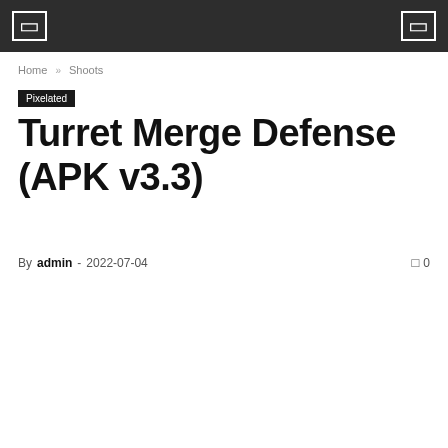[ icon ] [ icon ]
Home » Shoots
Pixelated
Turret Merge Defense (APK v3.3)
By admin - 2022-07-04  0